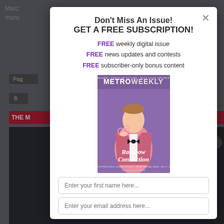[Figure (screenshot): Background of a website UI visible behind a modal popup, showing partial navigation elements, a red bar, and a dark panel]
Don't Miss An Issue!
GET A FREE SUBSCRIPTION!
FREE weekly digital issue
FREE news updates and contests
FREE subscriber-only bonus content
[Figure (photo): Metro Weekly magazine cover showing a man in a pink sequined tuxedo jacket holding pink glasses, with text 'Rainbow Connection' and 'MetroWeekly' masthead]
Enter your first name here...
Enter your email address here...